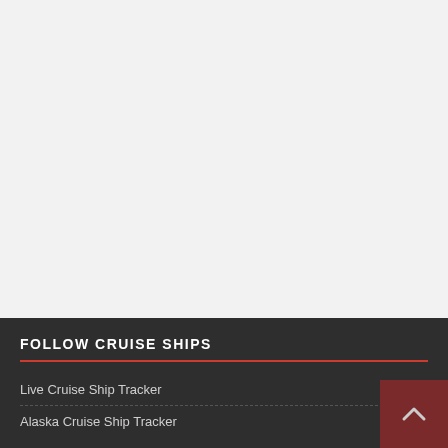[Figure (other): Large empty light gray area occupying the top portion of the page, likely a placeholder for an advertisement or image.]
FOLLOW CRUISE SHIPS
Live Cruise Ship Tracker
Alaska Cruise Ship Tracker